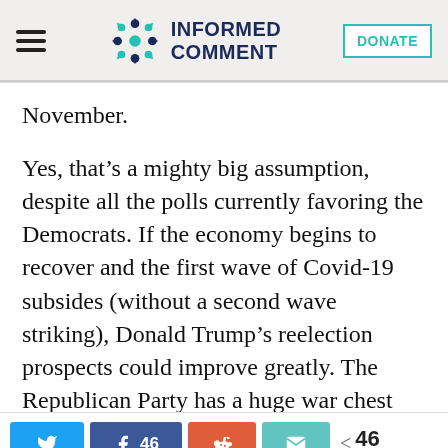[Figure (logo): Informed Comment website logo with stylized dot/arrow icon and text INFORMED COMMENT in dark navy blue]
November.
Yes, that’s a mighty big assumption, despite all the polls currently favoring the Democrats. If the economy begins to recover and the first wave of Covid-19 subsides (without a second wave striking), Donald Trump’s reelection prospects could improve greatly. The Republican Party has a huge war chest ready to fund ads galore, massive targeted outreach, and widespread
[Figure (infographic): Social share bar with Twitter, Facebook (46), Reddit, and Email buttons, plus a share count showing 46 SHARES]